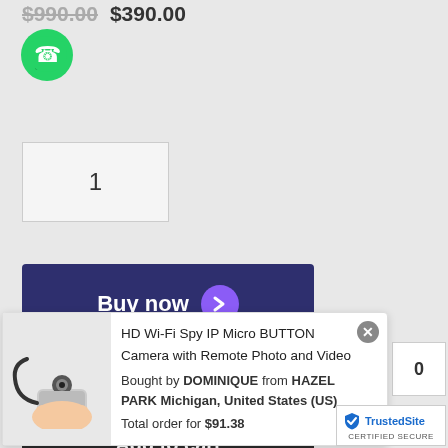$990.00  $390.00
[Figure (logo): WhatsApp green chat icon]
1
[Figure (other): Buy now button with purple arrow chevron]
— OR —
[Figure (other): Add to cart dark button]
[Figure (other): Popup notification showing HD Wi-Fi Spy IP Micro BUTTON Camera with Remote Photo and Video, bought by DOMINIQUE from HAZEL PARK Michigan, United States (US), Total order for $91.38, with product image]
[Figure (logo): TrustedSite certified secure badge]